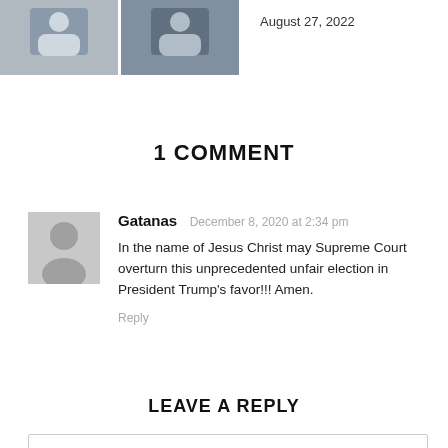[Figure (photo): Two small portrait photos side by side at top left]
August 27, 2022
1 COMMENT
[Figure (photo): Gray avatar silhouette for commenter Gatanas]
Gatanas December 8, 2020 at 2:34 pm
In the name of Jesus Christ may Supreme Court overturn this unprecedented unfair election in President Trump's favor!!! Amen.
Reply
LEAVE A REPLY
Comment: